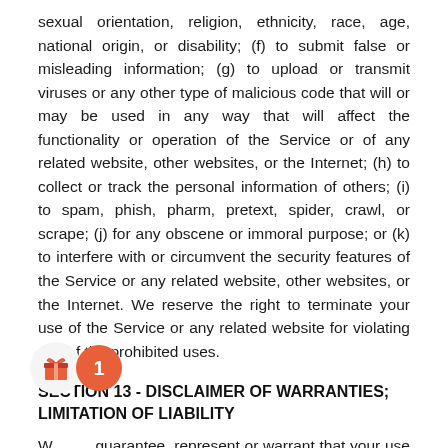sexual orientation, religion, ethnicity, race, age, national origin, or disability; (f) to submit false or misleading information; (g) to upload or transmit viruses or any other type of malicious code that will or may be used in any way that will affect the functionality or operation of the Service or of any related website, other websites, or the Internet; (h) to collect or track the personal information of others; (i) to spam, phish, pharm, pretext, spider, crawl, or scrape; (j) for any obscene or immoral purpose; or (k) to interfere with or circumvent the security features of the Service or any related website, other websites, or the Internet. We reserve the right to terminate your use of the Service or any related website for violating any of the prohibited uses.
SECTION 13 - DISCLAIMER OF WARRANTIES; LIMITATION OF LIABILITY
We do not guarantee, represent or warrant that your use of our service will be uninterrupted, timely, secure or error-free. We do not warrant that the results that may be obtained